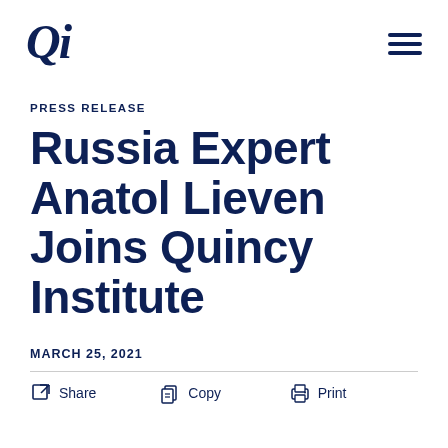Qi
PRESS RELEASE
Russia Expert Anatol Lieven Joins Quincy Institute
MARCH 25, 2021
Share   Copy   Print